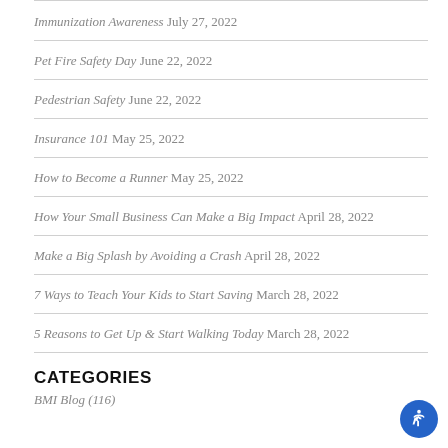Immunization Awareness July 27, 2022
Pet Fire Safety Day June 22, 2022
Pedestrian Safety June 22, 2022
Insurance 101 May 25, 2022
How to Become a Runner May 25, 2022
How Your Small Business Can Make a Big Impact April 28, 2022
Make a Big Splash by Avoiding a Crash April 28, 2022
7 Ways to Teach Your Kids to Start Saving March 28, 2022
5 Reasons to Get Up & Start Walking Today March 28, 2022
CATEGORIES
BMI Blog (116)